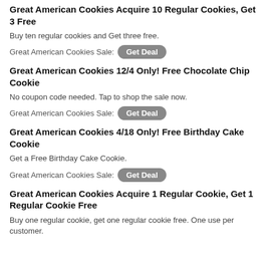Great American Cookies Acquire 10 Regular Cookies, Get 3 Free
Buy ten regular cookies and Get three free.
Great American Cookies Sale: Get Deal
Great American Cookies 12/4 Only! Free Chocolate Chip Cookie
No coupon code needed. Tap to shop the sale now.
Great American Cookies Sale: Get Deal
Great American Cookies 4/18 Only! Free Birthday Cake Cookie
Get a Free Birthday Cake Cookie.
Great American Cookies Sale: Get Deal
Great American Cookies Acquire 1 Regular Cookie, Get 1 Regular Cookie Free
Buy one regular cookie, get one regular cookie free. One use per customer.